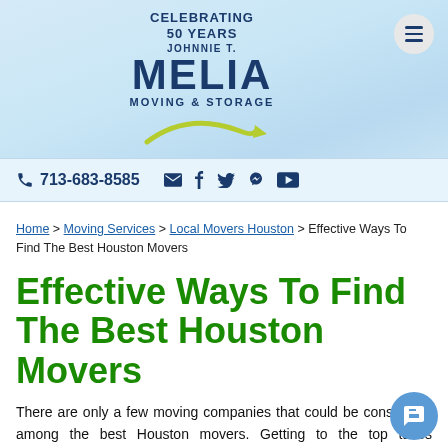[Figure (logo): Johnnie T. Melia Moving & Storage logo with 'Celebrating 50 Years' text and green arrow graphic]
713-683-8585 [phone icon] [email icon] [facebook icon] [twitter icon] [google+ icon] [youtube icon]
Home > Moving Services > Local Movers Houston > Effective Ways To Find The Best Houston Movers
Effective Ways To Find The Best Houston Movers
There are only a few moving companies that could be considered among the best Houston movers. Getting to the top takes dedication to the field, an established logistical base, and the knowledge to perform in a variety